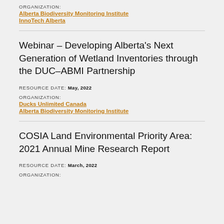ORGANIZATION:
Alberta Biodiversity Monitoring Institute
InnoTech Alberta
Webinar – Developing Alberta's Next Generation of Wetland Inventories through the DUC–ABMI Partnership
RESOURCE DATE: May, 2022
ORGANIZATION:
Ducks Unlimited Canada
Alberta Biodiversity Monitoring Institute
COSIA Land Environmental Priority Area: 2021 Annual Mine Research Report
RESOURCE DATE: March, 2022
ORGANIZATION: